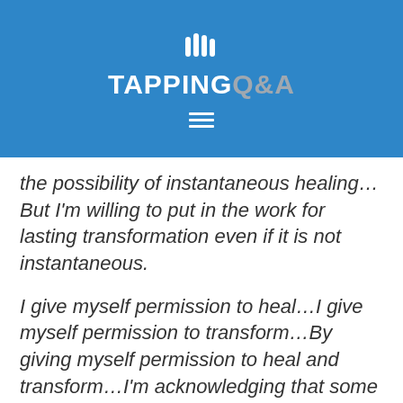[Figure (logo): Tapping Q&A logo with white hand/tapping icon above text. 'TAPPING' in white bold uppercase, 'Q&A' in gray bold uppercase, on a blue background with hamburger menu icon below.]
the possibility of instantaneous healing…But I'm willing to put in the work for lasting transformation even if it is not instantaneous.
I give myself permission to heal…I give myself permission to transform…By giving myself permission to heal and transform…I'm acknowledging that some of this work might be hard…I recognize the